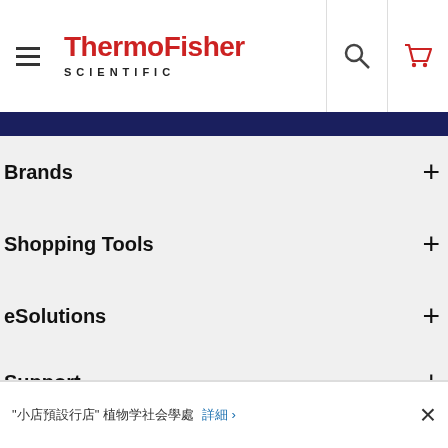ThermoFisher SCIENTIFIC — navigation header with hamburger menu, search icon, and cart icon
Brands +
Shopping Tools +
eSolutions +
Support +
[garbled text] +
"[garbled]" [garbled text] [link text] ›  ×